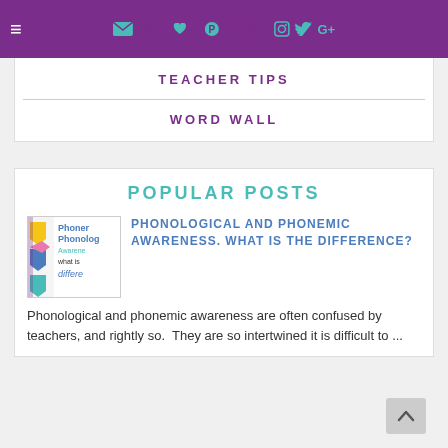≡ MY TOP PRODUCTS (nav icons: email, cart, heart, pinterest, facebook, instagram, twitter, google+)
TEACHER TIPS
WORD WALL
POPULAR POSTS
[Figure (illustration): Thumbnail image for Phonological and Phonemic Awareness blog post showing colorful letters and text 'Phoner Phonolog Awareness what is the difference?']
PHONOLOGICAL AND PHONEMIC AWARENESS. WHAT IS THE DIFFERENCE?
Phonological and phonemic awareness are often confused by teachers, and rightly so.  They are so intertwined it is difficult to ...